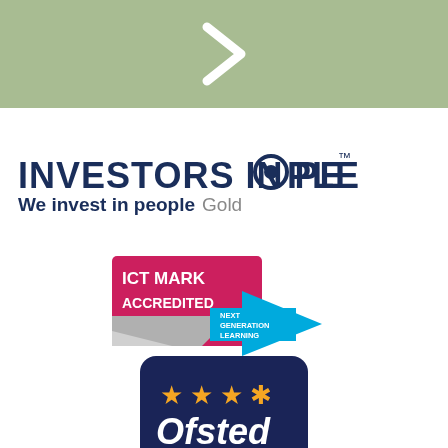[Figure (other): Green banner with white chevron/arrow pointing right]
[Figure (logo): Investors in People logo with text 'INVESTORS IN PEOPLE' and 'We invest in people Gold']
[Figure (logo): ICT Mark Accredited badge with Next Generation Learning arrow]
[Figure (logo): Ofsted Outstanding Provider badge with stars]